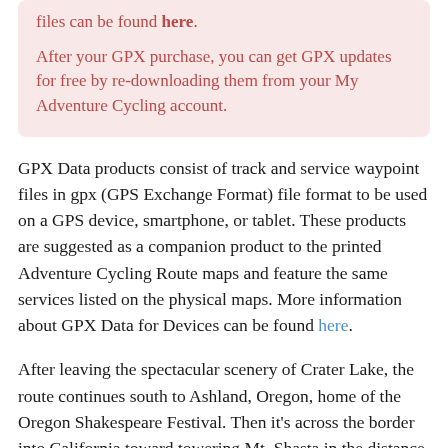files can be found here. After your GPX purchase, you can get GPX updates for free by re-downloading them from your My Adventure Cycling account.
GPX Data products consist of track and service waypoint files in gpx (GPS Exchange Format) file format to be used on a GPS device, smartphone, or tablet. These products are suggested as a companion product to the printed Adventure Cycling Route maps and feature the same services listed on the physical maps. More information about GPX Data for Devices can be found here.
After leaving the spectacular scenery of Crater Lake, the route continues south to Ashland, Oregon, home of the Oregon Shakespeare Festival. Then it's across the border into California toward towering Mt. Shasta in the distance. You'll bike through the